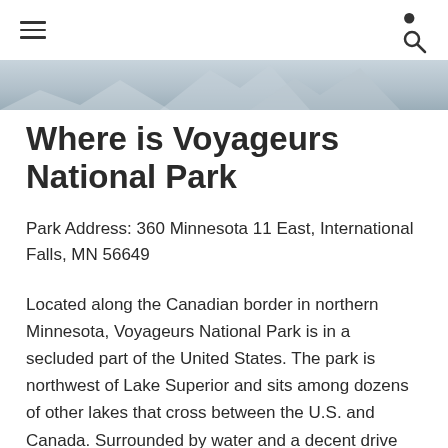[hamburger menu icon] [search icon]
[Figure (photo): Partial outdoor/nature hero image banner, grey-blue tones, appears to show snowy or overcast sky and landscape]
Where is Voyageurs National Park
Park Address: 360 Minnesota 11 East, International Falls, MN 56649
Located along the Canadian border in northern Minnesota, Voyageurs National Park is in a secluded part of the United States. The park is northwest of Lake Superior and sits among dozens of other lakes that cross between the U.S. and Canada. Surrounded by water and a decent drive from any city or town, Voyageurs National Park is a true natural